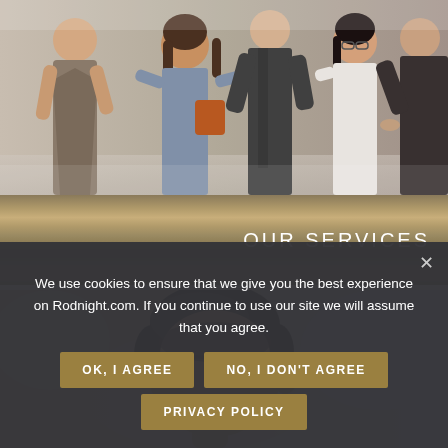[Figure (photo): Photo of a group of business professionals networking, shaking hands and conversing in an office or conference setting. Multiple people visible including women in business attire and men in suits.]
OUR SERVICES
[Figure (photo): Close-up photo of a dark-haired man looking downward, slightly blurred background suggesting an office or outdoor business environment.]
We use cookies to ensure that we give you the best experience on Rodnight.com. If you continue to use our site we will assume that you agree.
OK, I AGREE
NO, I DON'T AGREE
PRIVACY POLICY